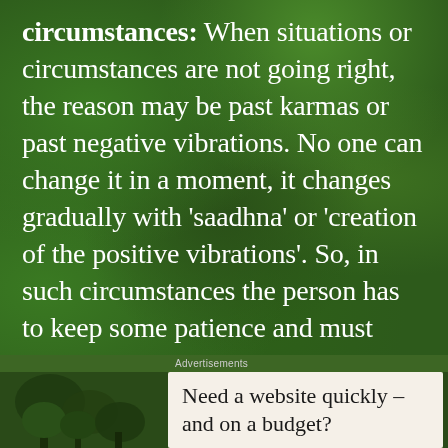circumstances: When situations or circumstances are not going right, the reason may be past karmas or past negative vibrations. No one can change it in a moment, it changes gradually with 'saadhna' or 'creation of the positive vibrations'. So, in such circumstances the person has to keep some patience and must keep creating the positive vibrations.
Advertisements
Need a website quickly – and on a budget?